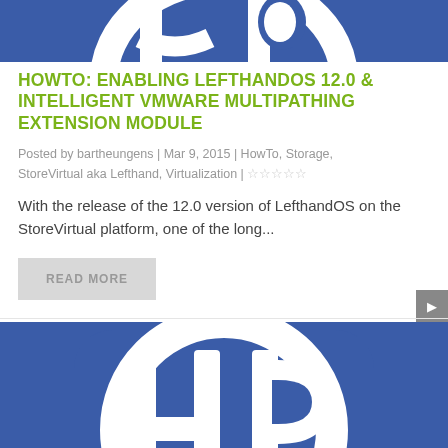[Figure (logo): HP logo (blue rounded square with white 'hp' script) — top strip, partially cropped]
HOWTO: ENABLING LEFTHANDOS 12.0 & INTELLIGENT VMWARE MULTIPATHING EXTENSION MODULE
Posted by bartheungens | Mar 9, 2015 | HowTo, Storage, StoreVirtual aka Lefthand, Virtualization | ☆☆☆☆☆
With the release of the 12.0 version of LefthandOS on the StoreVirtual platform, one of the long...
READ MORE
[Figure (logo): HP logo (blue rounded square with white 'hp' script) — bottom strip, partially cropped, larger view]